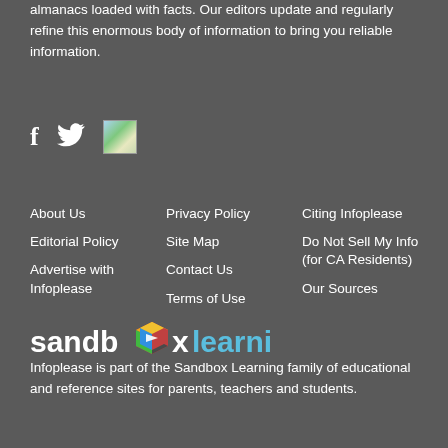almanacs loaded with facts. Our editors update and regularly refine this enormous body of information to bring you reliable information.
[Figure (other): Social media icons: Facebook (f), Twitter (bird), and a small landscape image icon]
About Us
Editorial Policy
Advertise with Infoplease
Privacy Policy
Site Map
Contact Us
Terms of Use
Citing Infoplease
Do Not Sell My Info (for CA Residents)
Our Sources
[Figure (logo): Sandbox Learning logo with colorful 'o' icon and blue 'learning' text]
Infoplease is part of the Sandbox Learning family of educational and reference sites for parents, teachers and students.